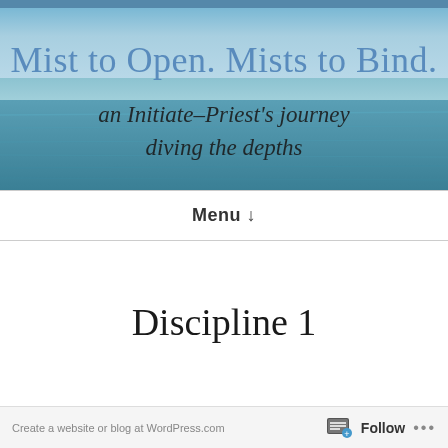[Figure (photo): Ocean/sea background image with blue water and sky, overlaid with blog title text: 'Mist to Open. Mists to Bind.' in large steel-blue serif font, and subtitle 'an Initiate-Priest’s journey diving the depths' in dark serif italic font]
Menu ↓
Discipline 1
Follow ...